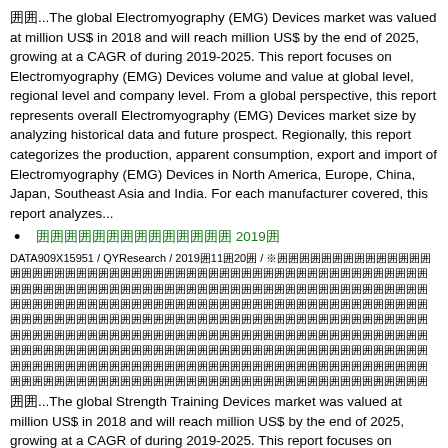囲囲...The global Electromyography (EMG) Devices market was valued at million US$ in 2018 and will reach million US$ by the end of 2025, growing at a CAGR of during 2019-2025. This report focuses on Electromyography (EMG) Devices volume and value at global level, regional level and company level. From a global perspective, this report represents overall Electromyography (EMG) Devices market size by analyzing historical data and future prospect. Regionally, this report categorizes the production, apparent consumption, export and import of Electromyography (EMG) Devices in North America, Europe, China, Japan, Southeast Asia and India. For each manufacturer covered, this report analyzes...
囲囲囲囲囲囲囲囲囲囲囲囲囲囲 2019囲
DATA909X15951 / QYResearch / 2019囲11囲20囲 / ※囲囲囲囲囲囲囲囲囲囲囲囲囲囲囲囲囲囲囲囲囲囲囲囲囲囲囲囲囲囲囲囲囲囲囲囲囲囲囲囲囲囲囲囲囲囲囲囲囲囲囲囲囲囲囲囲囲囲囲囲囲囲囲囲囲囲囲囲囲囲囲囲囲囲囲囲囲囲囲囲囲囲囲囲囲囲囲囲囲囲囲囲囲囲囲囲囲囲囲囲囲囲囲囲囲囲囲囲囲囲囲囲囲囲囲囲囲囲囲囲囲囲囲囲囲囲囲囲囲囲囲囲囲囲囲囲囲囲囲囲囲囲囲囲囲囲囲囲囲囲囲囲囲囲囲囲囲囲囲囲囲囲囲囲囲囲囲囲囲囲囲囲囲囲囲囲囲囲囲囲囲囲囲囲囲囲囲囲囲囲囲囲囲囲囲囲囲囲囲囲囲囲囲囲囲囲囲囲囲囲囲囲囲囲囲囲囲囲囲囲囲囲囲囲囲囲囲囲囲囲囲囲囲囲囲囲囲囲囲囲囲囲囲囲囲囲囲囲囲囲囲囲囲囲囲囲囲囲囲囲囲囲囲囲囲囲囲囲囲囲囲囲囲囲囲囲囲囲囲囲囲囲囲囲囲囲囲囲囲囲囲囲囲囲囲囲囲囲囲囲囲囲囲囲囲囲囲囲囲囲囲囲囲囲囲囲囲囲
囲囲...The global Strength Training Devices market was valued at million US$ in 2018 and will reach million US$ by the end of 2025, growing at a CAGR of during 2019-2025. This report focuses on Strength Training Devices volume and value at global level, regional level and company level. From a global perspective, this report represents overall Strength Training Devices market size by analyzing historical data and future prospect. Regionally, this report categorizes the production, apparent consumption, export and import of Strength Training Devices in North America, Europe, China, Japan...